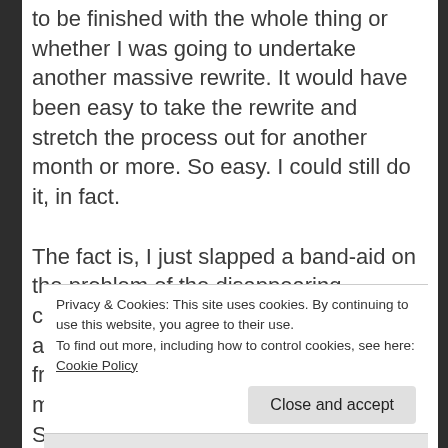to be finished with the whole thing or whether I was going to undertake another massive rewrite. It would have been easy to take the rewrite and stretch the process out for another month or more. So easy. I could still do it, in fact.

The fact is, I just slapped a band-aid on the problem of the disappearing character. She had disappeared without a trace, and I just wrote a magical exit from the narrative for her. (There's magic in my story; I can totally do that.) Solving the problem she presented for me consisted of writing a single
Privacy & Cookies: This site uses cookies. By continuing to use this website, you agree to their use.
To find out more, including how to control cookies, see here: Cookie Policy